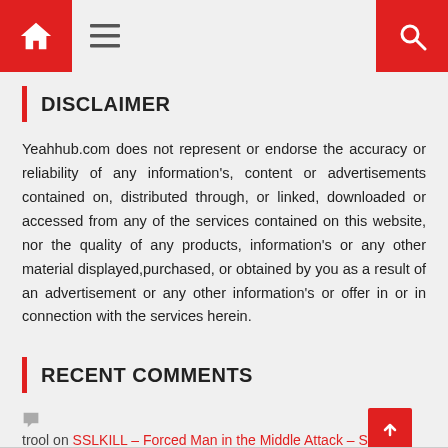Navigation bar with home icon, menu icon, and search icon
DISCLAIMER
Yeahhub.com does not represent or endorse the accuracy or reliability of any information's, content or advertisements contained on, distributed through, or linked, downloaded or accessed from any of the services contained on this website, nor the quality of any products, information's or any other material displayed,purchased, or obtained by you as a result of an advertisement or any other information's or offer in or in connection with the services herein.
RECENT COMMENTS
trool on SSLKILL – Forced Man in the Middle Attack – Sniff HTTPS/HTTP